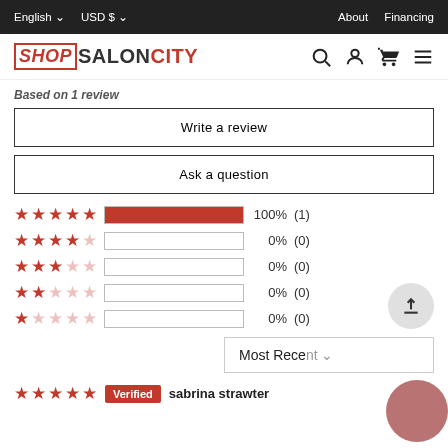English  USD $  About  Financing
[Figure (logo): ShopSalonCity logo]
Based on 1 review
Write a review
Ask a question
| Stars | Bar | Percent | Count |
| --- | --- | --- | --- |
| 5 stars | filled | 100% | (1) |
| 4 stars | empty | 0% | (0) |
| 3 stars | empty | 0% | (0) |
| 2 stars | empty | 0% | (0) |
| 1 star | empty | 0% | (0) |
Most Recent
Verified  sabrina strawter